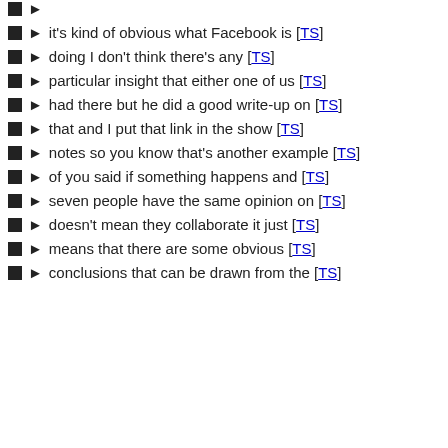it's kind of obvious what Facebook is [TS]
doing I don't think there's any [TS]
particular insight that either one of us [TS]
had there but he did a good write-up on [TS]
that and I put that link in the show [TS]
notes so you know that's another example [TS]
of you said if something happens and [TS]
seven people have the same opinion on [TS]
doesn't mean they collaborate it just [TS]
means that there are some obvious [TS]
conclusions that can be drawn from the [TS]